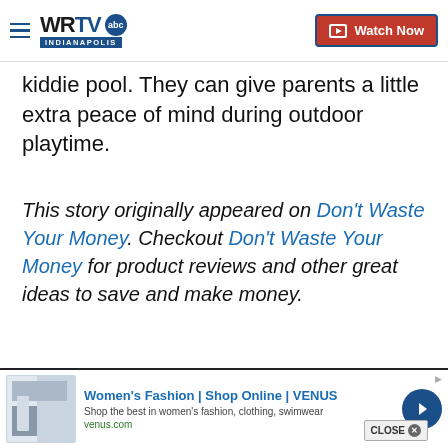WRTV Indianapolis | Watch Now
kiddie pool. They can give parents a little extra peace of mind during outdoor playtime.
This story originally appeared on Don't Waste Your Money. Checkout Don't Waste Your Money for product reviews and other great ideas to save and make money.
Copyright 2022 Scripps Media, Inc. All rights reserved. This material may not be published, broadcast, rewritten, or redistributed.
Sign up for the Breaking News Newsletter and receive up to date information.
[Figure (advertisement): Ad for Women's Fashion | Shop Online | VENUS. Text: Shop the best in women's fashion, clothing, swimwear. venus.com]